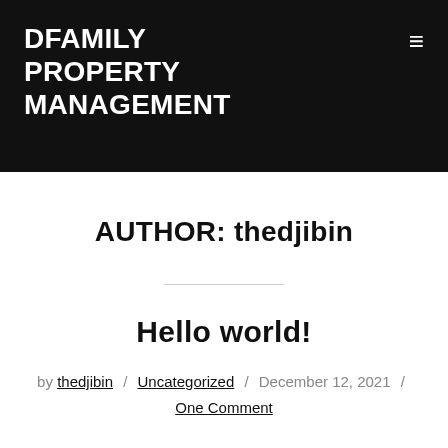DFAMILY PROPERTY MANAGEMENT
AUTHOR: thedjibin
Hello world!
by thedjibin / Uncategorized / December 12, 2021 / One Comment